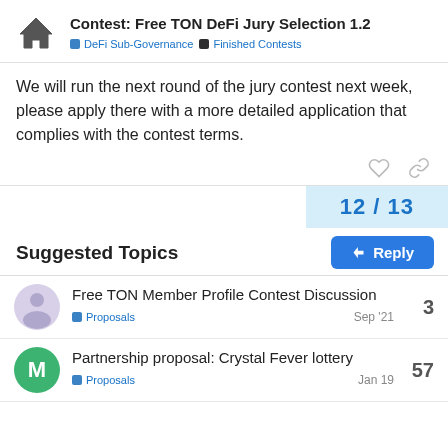Contest: Free TON DeFi Jury Selection 1.2 | DeFi Sub-Governance | Finished Contests
We will run the next round of the jury contest next week, please apply there with a more detailed application that complies with the contest terms.
12 / 13
Suggested Topics
Free TON Member Profile Contest Discussion | Proposals | Sep '21 | 3
Partnership proposal: Crystal Fever lottery | Proposals | Jan 19 | 57